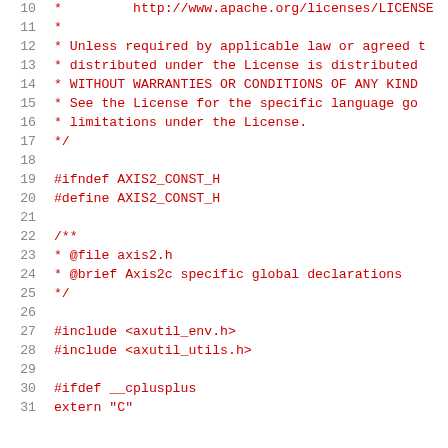Code listing lines 10-31: C header file with Apache license comment and include guards
10  *         http://www.apache.org/licenses/LICENSE
11  *
12  * Unless required by applicable law or agreed t
13  * distributed under the License is distributed
14  * WITHOUT WARRANTIES OR CONDITIONS OF ANY KIND
15  * See the License for the specific language go
16  * limitations under the License.
17  */
18
19  #ifndef AXIS2_CONST_H
20  #define AXIS2_CONST_H
21
22  /**
23   * @file axis2.h
24   * @brief Axis2c specific global declarations
25   */
26
27  #include <axutil_env.h>
28  #include <axutil_utils.h>
29
30  #ifdef __cplusplus
31  extern "C"